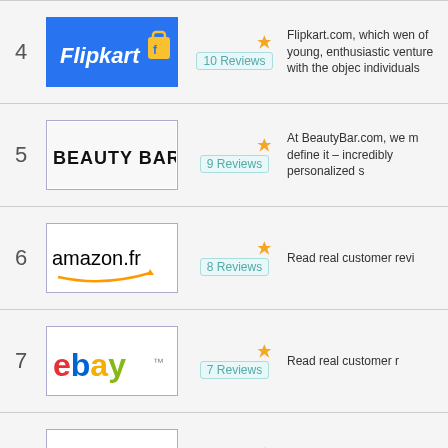| Rank | Logo | Stars/Reviews | Description |
| --- | --- | --- | --- |
| 4 | Flipkart | 10 Reviews | Flipkart.com, which went of young, enthusiastic venture with the objec individuals |
| 5 | BeautyBar | 9 Reviews | At BeautyBar.com, we define it – incredibly personalized s |
| 6 | amazon.fr | 8 Reviews | Read real customer revi |
| 7 | ebay | 7 Reviews | Read real customer r |
| 8 | ebay | 6 Reviews | Read real customer revi eBay Ge |
| 9 | AliExpress | 6 Reviews | AliExpress offer a huge of sellers at unbeatable secure online payment |